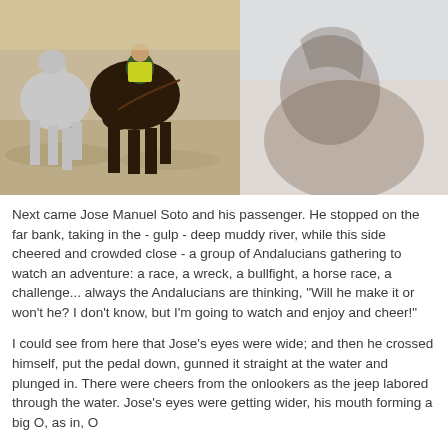[Figure (photo): Two horses crossing a shallow muddy river, one dark horse bending its head to the water, another grey horse nearby, rider in yellow vest visible on the dark horse]
[Figure (photo): Close-up faded background image of a dark horse's neck and head in profile against a light blue sky]
Next came Jose Manuel Soto and his passenger. He stopped on the far bank, taking in the - gulp - deep muddy river, while this side cheered and crowded close - a group of Andalucians gathering to watch an adventure: a race, a wreck, a bullfight, a horse race, a challenge... always the Andalucians are thinking, "Will he make it or won't he? I don't know, but I'm going to watch and enjoy and cheer!"
I could see from here that Jose's eyes were wide; and then he crossed himself, put the pedal down, gunned it straight at the water and plunged in. There were cheers from the onlookers as the jeep labored through the water. Jose's eyes were getting wider, his mouth forming a big O, as in, O